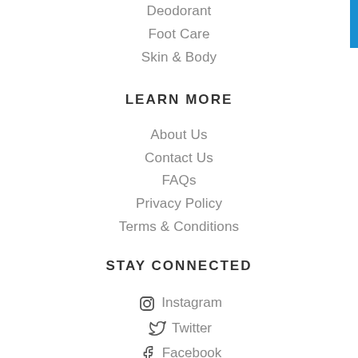Deodorant
Foot Care
Skin & Body
LEARN MORE
About Us
Contact Us
FAQs
Privacy Policy
Terms & Conditions
STAY CONNECTED
Instagram
Twitter
Facebook
Pinterest